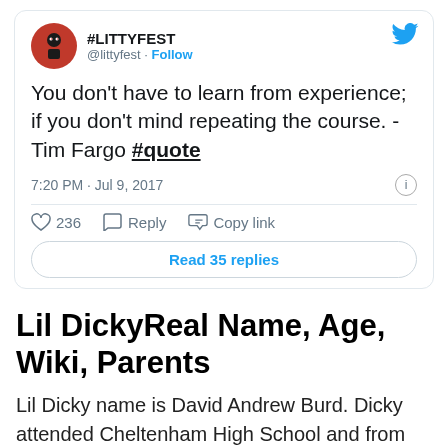[Figure (screenshot): Twitter/X bird logo icon in blue, top right of tweet card]
[Figure (photo): Avatar for @littyfest: red circle with cartoon character silhouette]
#LITTYFEST @littyfest · Follow
You don't have to learn from experience; if you don't mind repeating the course. - Tim Fargo #quote
7:20 PM · Jul 9, 2017
236 Reply Copy link
Read 35 replies
Lil DickyReal Name, Age, Wiki, Parents
Lil Dicky name is David Andrew Burd. Dicky attended Cheltenham High School and from age 14, he'd started rapping. As a teen, Dicky started